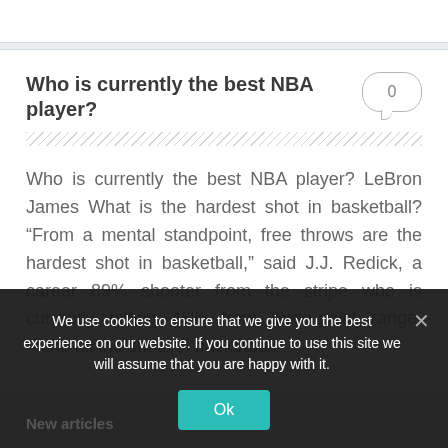Who is currently the best NBA player?
Who is currently the best NBA player? LeBron James What is the hardest shot in basketball? “From a mental standpoint, free throws are the hardest shot in basketball,” said J.J. Redick, a career 89% shooter from the stripe who is currently hitting 46% from three-point range. “Take all the shots in basketball
We use cookies to ensure that we give you the best experience on our website. If you continue to use this site we will assume that you are happy with it.
New articles